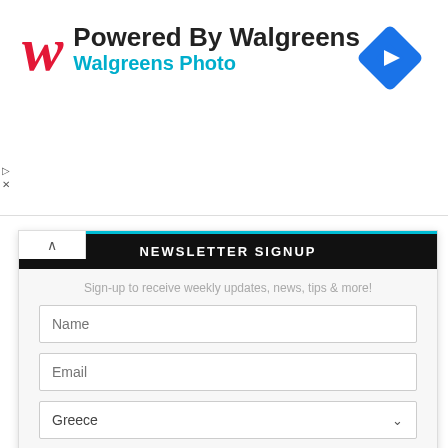[Figure (logo): Walgreens logo with red cursive W and Powered By Walgreens text with blue diamond navigation icon]
NEWSLETTER SIGNUP
Sign-up to receive weekly updates, news, tips & more!
Name (input field)
Email (input field)
Greece (dropdown)
I agree with the Terms and conditions and the Privacy policy
Subscribe (button)